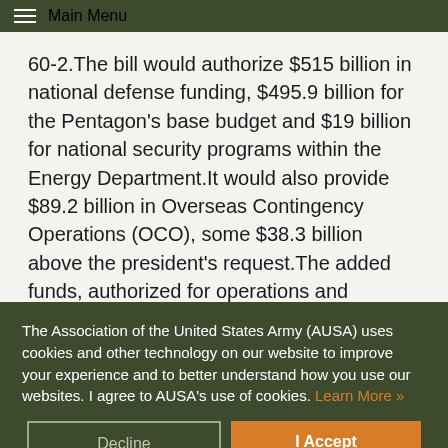MAIN MENU
60-2.The bill would authorize $515 billion in national defense funding, $495.9 billion for the Pentagon's base budget and $19 billion for national security programs within the Energy Department.It would also provide $89.2 billion in Overseas Contingency Operations (OCO), some $38.3 billion above the president's request.The added funds, authorized for operations and maintenance within the DoD's base budget, were used to
The Association of the United States Army (AUSA) uses cookies and other technology on our website to improve your experience and to better understand how you use our websites. I agree to AUSA's use of cookies. Learn More »
Decline
I Accept